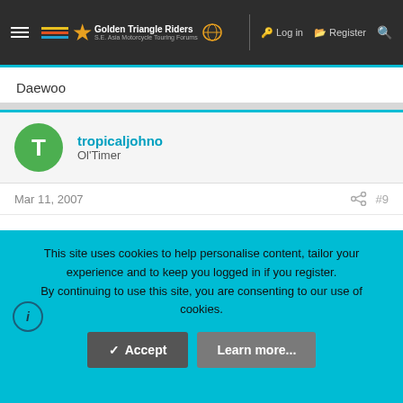Golden Triangle Riders — S.E. Asia Motorcycle Touring Forums | Log in | Register
Daewoo
tropicaljohno
Ol'Timer
Mar 11, 2007  #9
Dont worry, will make some more enquires....... Hey I have a 1150GS I want to sell.....

Stay Tuned, more later (I hope...)
This site uses cookies to help personalise content, tailor your experience and to keep you logged in if you register.
By continuing to use this site, you are consenting to our use of cookies.